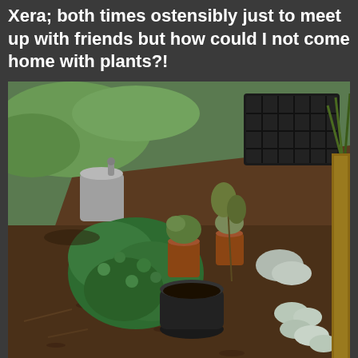Xera; both times ostensibly just to meet up with friends but how could I not come home with plants?!
[Figure (photo): Outdoor garden scene showing various potted plants and seedlings arranged on bare earth, including lush green shrubs, succulents, small terracotta pots, a black round pot, a gray watering can, and black seedling trays, with green grass visible in the background.]
Most of em